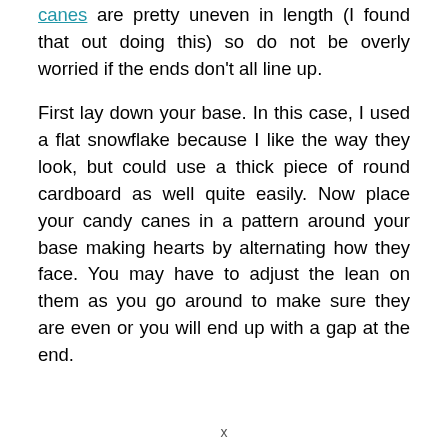canes are pretty uneven in length (I found that out doing this) so do not be overly worried if the ends don't all line up.
First lay down your base. In this case, I used a flat snowflake because I like the way they look, but could use a thick piece of round cardboard as well quite easily. Now place your candy canes in a pattern around your base making hearts by alternating how they face. You may have to adjust the lean on them as you go around to make sure they are even or you will end up with a gap at the end.
x